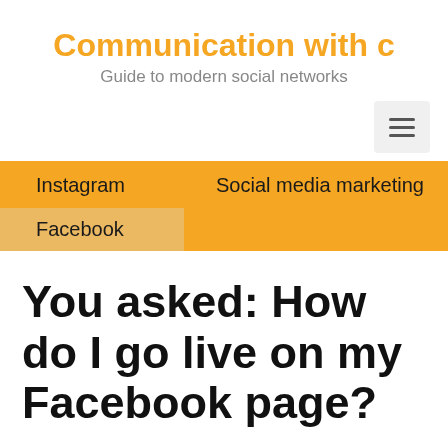Communication with c
Guide to modern social networks
Instagram   Social media marketing
Facebook
You asked: How do I go live on my Facebook page?